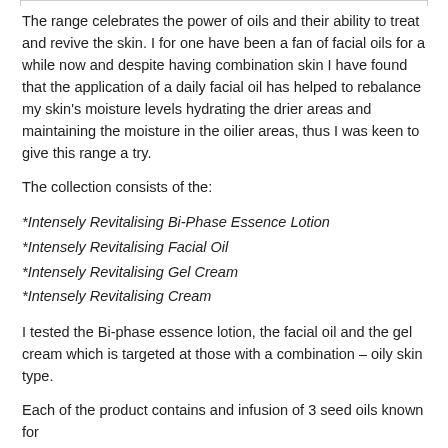The range celebrates the power of oils and their ability to treat and revive the skin. I for one have been a fan of facial oils for a while now and despite having combination skin I have found that the application of a daily facial oil has helped to rebalance my skin's moisture levels hydrating the drier areas and maintaining the moisture in the oilier areas, thus I was keen to give this range a try.
The collection consists of the:
*Intensely Revitalising Bi-Phase Essence Lotion
*Intensely Revitalising Facial Oil
*Intensely Revitalising Gel Cream
*Intensely Revitalising Cream
I tested the Bi-phase essence lotion, the facial oil and the gel cream which is targeted at those with a combination – oily skin type.
Each of the product contains and infusion of 3 seed oils known for